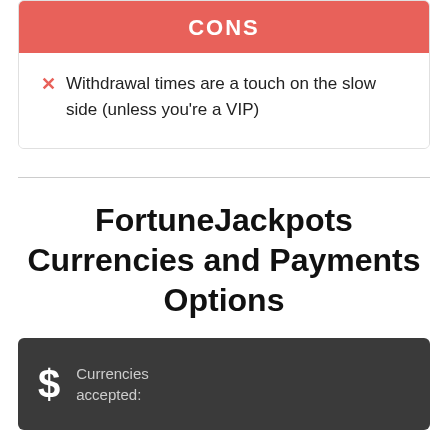CONS
Withdrawal times are a touch on the slow side (unless you're a VIP)
FortuneJackpots Currencies and Payments Options
Currencies accepted: